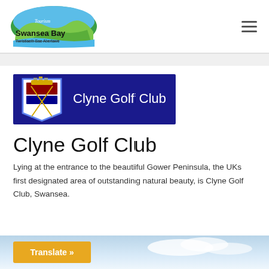[Figure (logo): Tourism Swansea Bay / Twristiaeth Bae Abertawe logo with oval green/blue/yellow landscape graphic]
[Figure (logo): Clyne Golf Club banner: dark navy blue background with club crest shield on left and white text 'Clyne Golf Club' on right]
Clyne Golf Club
Lying at the entrance to the beautiful Gower Peninsula, the UKs first designated area of outstanding natural beauty, is Clyne Golf Club, Swansea.
[Figure (photo): Bottom strip showing a sky/landscape photo with a yellow-orange 'Translate »' button overlay]